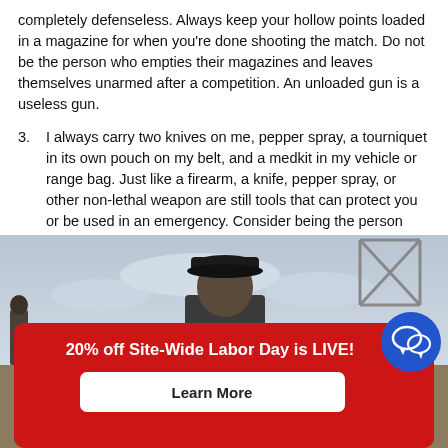completely defenseless. Always keep your hollow points loaded in a magazine for when you're done shooting the match. Do not be the person who empties their magazines and leaves themselves unarmed after a competition. An unloaded gun is a useless gun.
3. I always carry two knives on me, pepper spray, a tourniquet in its own pouch on my belt, and a medkit in my vehicle or range bag. Just like a firearm, a knife, pepper spray, or other non-lethal weapon are still tools that can protect you or be used in an emergency. Consider being the person who is always prepared to help others in case of injury.
[Figure (photo): Outdoor range photo showing a person in a dark cap and clothing in the center, a person silhouette on the left, and a metal structure frame in the upper right against a cloudy sky. A red promotional banner overlays the bottom reading '20% off Site-Wide Labor Day is LIVE!' with a 'Learn More' button and a blue chat icon.]